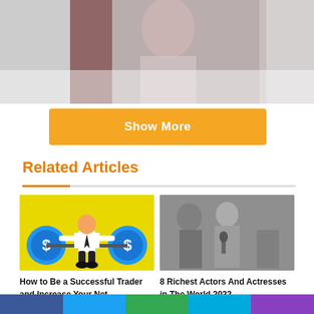[Figure (photo): Partial photo of a woman at what appears to be a media event, cropped at top of page, faded/partially visible]
Show More
Related Articles
[Figure (illustration): Illustration of a businessman weightlifting with two blue dollar-sign weights on a yellow background]
How to Be a Successful Trader and Increase Your Net
[Figure (photo): Black and white photo of three people, two men and a woman, appearing to be actors]
8 Richest Actors And Actresses in The World 2022